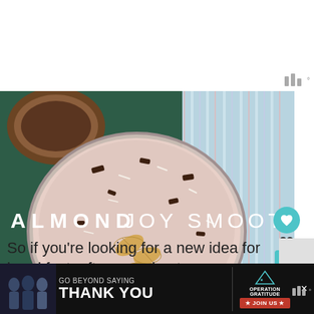[Figure (photo): Overhead photo of an Almond Joy Smoothie in a glass bowl topped with sliced almonds, shredded coconut, and chocolate pieces, with a striped cloth and coconut in the background. Text overlay reads 'ALMOND JOY SMOOTHIE' in white letters.]
So if you're looking for a new idea for breakfast, after a workout, or...
[Figure (other): Advertisement banner: 'GO BEYOND SAYING THANK YOU' with Operation Gratitude logo and JOIN US button.]